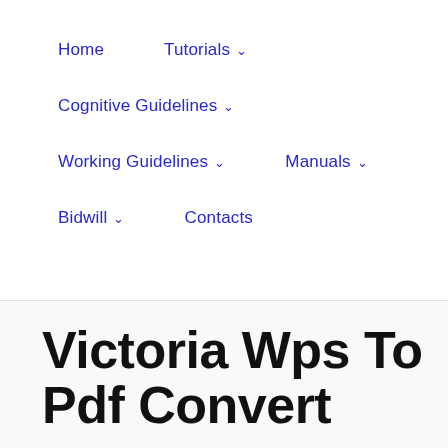Home | Tutorials | Cognitive Guidelines | Working Guidelines | Manuals | Bidwill | Contacts
Victoria Wps To Pdf Convert